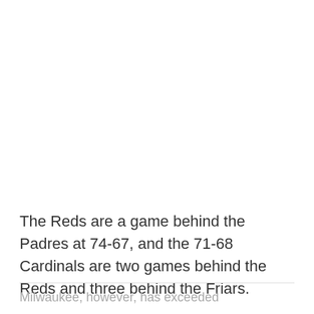The Reds are a game behind the Padres at 74-67, and the 71-68 Cardinals are two games behind the Reds and three behind the Friars.
Milwaukee, however, has exceeded